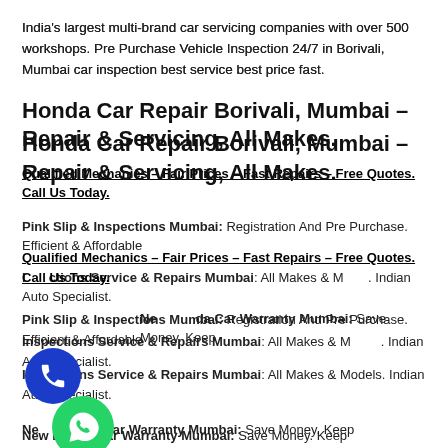India's largest multi-brand car servicing companies with over 500 workshops. Pre Purchase Vehicle Inspection 24/7 in Borivali, Mumbai car inspection best service best price fast.
Honda Car Repair Borivali, Mumbai – Repair & Servicing, All Makes.
Qualified Mechanics – Fair Prices – Fast Repairs – Free Quotes. Call Us Today.
Pink Slip & Inspections Mumbai: Registration And Pre Purchase. Efficient & Affordable
Inspections Service & Repairs Mumbai: All Makes & Models. Indian Auto Specialist.
New Honda Car Warranty Mumbai: Save Money. Keep
[Figure (illustration): Blue circular phone call button (floating action button)]
[Figure (illustration): Green circular WhatsApp button (floating action button)]